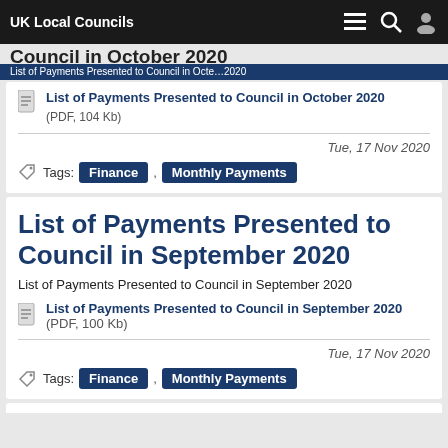UK Local Councils
List of Payments Presented to Council in October 2020
List of Payments Presented to Council in October 2020 (PDF, 104 Kb)
Tue, 17 Nov 2020
Tags: Finance , Monthly Payments
List of Payments Presented to Council in September 2020
List of Payments Presented to Council in September 2020
List of Payments Presented to Council in September 2020 (PDF, 100 Kb)
Tue, 17 Nov 2020
Tags: Finance , Monthly Payments